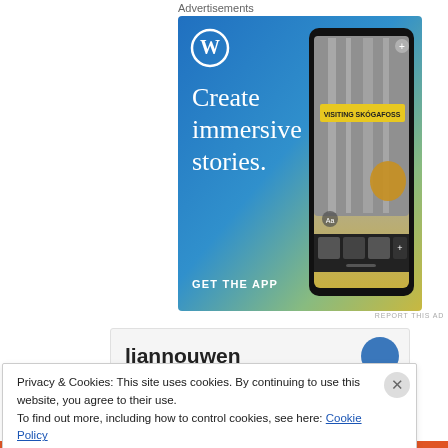Advertisements
[Figure (illustration): WordPress advertisement: Blue-to-yellow gradient background with WordPress logo (W in circle), text 'Create immersive stories.' and 'GET THE APP', with a phone mockup showing a waterfall photo and 'VISITING SKÓGAFOSS' label.]
REPORT THIS AD
liannouwen
Privacy & Cookies: This site uses cookies. By continuing to use this website, you agree to their use.
To find out more, including how to control cookies, see here: Cookie Policy
Close and accept